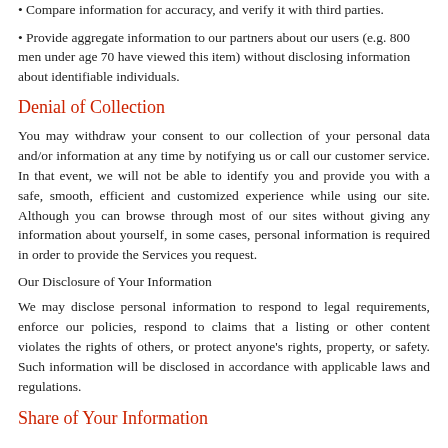• Compare information for accuracy, and verify it with third parties.
• Provide aggregate information to our partners about our users (e.g. 800 men under age 70 have viewed this item) without disclosing information about identifiable individuals.
Denial of Collection
You may withdraw your consent to our collection of your personal data and/or information at any time by notifying us or call our customer service. In that event, we will not be able to identify you and provide you with a safe, smooth, efficient and customized experience while using our site. Although you can browse through most of our sites without giving any information about yourself, in some cases, personal information is required in order to provide the Services you request.
Our Disclosure of Your Information
We may disclose personal information to respond to legal requirements, enforce our policies, respond to claims that a listing or other content violates the rights of others, or protect anyone's rights, property, or safety. Such information will be disclosed in accordance with applicable laws and regulations.
Share of Your Information